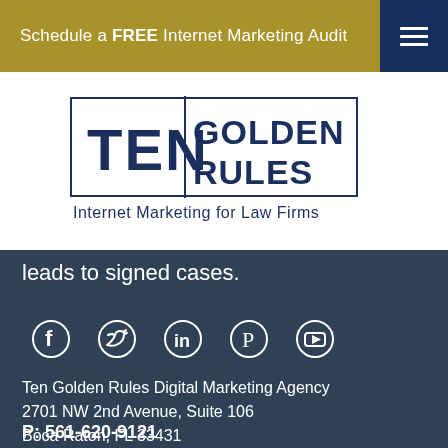Schedule a FREE Internet Marketing Audit
[Figure (logo): Ten Golden Rules – Internet Marketing for Law Firms logo with blue border box]
leads to signed cases.
[Figure (infographic): Social media icons: Facebook, Twitter, LinkedIn, Pinterest, YouTube]
Ten Golden Rules Digital Marketing Agency
2701 NW 2nd Avenue, Suite 106
Boca Raton, FL 33431
P: 561-620-9121